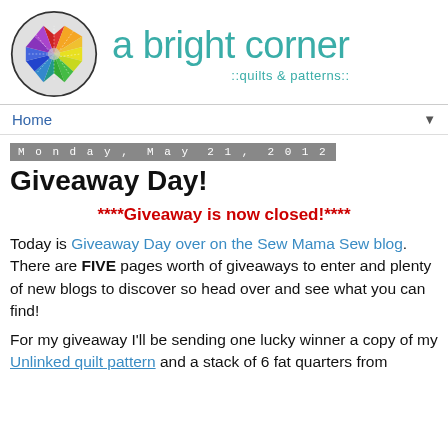[Figure (logo): A bright corner blog logo: circular star quilt block with multicolored points on grey background, beside teal text 'a bright corner ::quilts & patterns::']
Home
Monday, May 21, 2012
Giveaway Day!
****Giveaway is now closed!****
Today is Giveaway Day over on the Sew Mama Sew blog. There are FIVE pages worth of giveaways to enter and plenty of new blogs to discover so head over and see what you can find!
For my giveaway I'll be sending one lucky winner a copy of my Unlinked quilt pattern and a stack of 6 fat quarters from